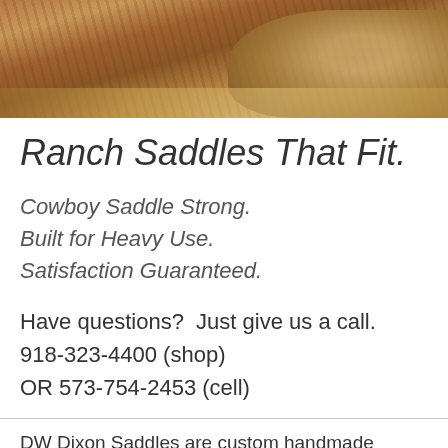[Figure (photo): Outdoor photo showing red dirt ground with dry grass, partial view of horses or cattle, ranch setting]
Ranch Saddles That Fit.
Cowboy Saddle Strong.
Built for Heavy Use.
Satisfaction Guaranteed.
Have questions?  Just give us a call.
918-323-4400 (shop)
OR 573-754-2453 (cell)
DW Dixon Saddles are custom handmade saddles by David Dixon.  Our saddles are built on US